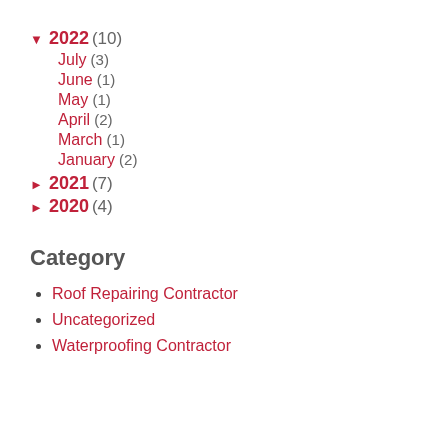▼ 2022 (10)
July (3)
June (1)
May (1)
April (2)
March (1)
January (2)
► 2021 (7)
► 2020 (4)
Category
Roof Repairing Contractor
Uncategorized
Waterproofing Contractor